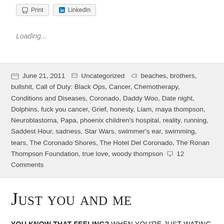[Figure (other): Share buttons: Print and LinkedIn]
Loading...
June 21, 2011  Uncategorized  beaches, brothers, bullshit, Call of Duty: Black Ops, Cancer, Chemotherapy, Conditions and Diseases, Coronado, Daddy Woo, Date night, Dolphins, fuck you cancer, Grief, honesty, Liam, maya thompson, Neuroblastoma, Papa, phoenix children's hospital, reality, running, Saddest Hour, sadness, Star Wars, swimmer's ear, swimming, tears, The Coronado Shores, The Hotel Del Coronado, The Ronan Thompson Foundation, true love, woody thompson  12 Comments
Just you and me
YOU KNOW THAT FEELING? WHEN YOU'RE JUST WATING TO GET HOME INTO YOUR ROOM, CLOSE THE DOOR, FALL INTO